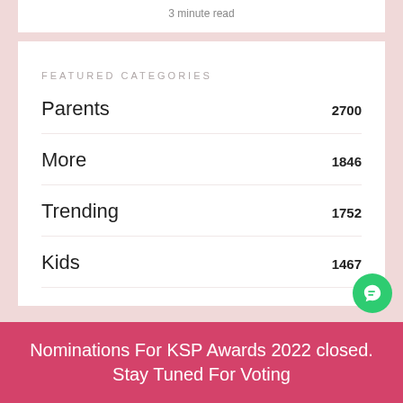3 minute read
FEATURED CATEGORIES
Parents  2700
More  1846
Trending  1752
Kids  1467
Nominations For KSP Awards 2022 closed. Stay Tuned For Voting